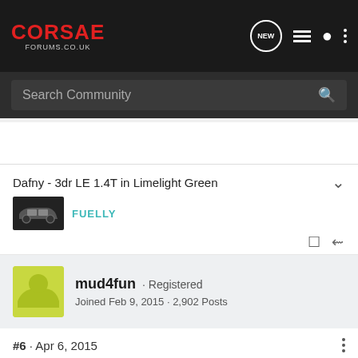CORSAE FORUMS.CO.UK
Search Community
Dafny - 3dr LE 1.4T in Limelight Green
FUELLY
mud4fun · Registered
Joined Feb 9, 2015 · 2,902 Posts
#6 · Apr 6, 2015
Gary, I assume the sills are same size as D?